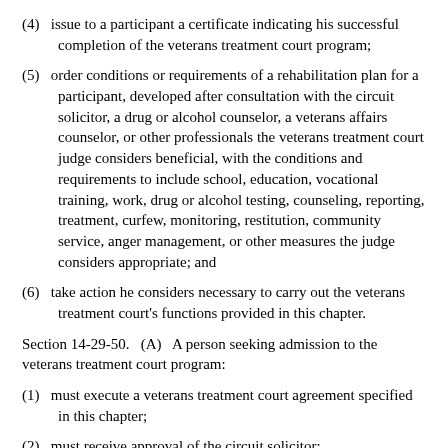(4)   issue to a participant a certificate indicating his successful completion of the veterans treatment court program;
(5)   order conditions or requirements of a rehabilitation plan for a participant, developed after consultation with the circuit solicitor, a drug or alcohol counselor, a veterans affairs counselor, or other professionals the veterans treatment court judge considers beneficial, with the conditions and requirements to include school, education, vocational training, work, drug or alcohol testing, counseling, reporting, treatment, curfew, monitoring, restitution, community service, anger management, or other measures the judge considers appropriate; and
(6)   take action he considers necessary to carry out the veterans treatment court's functions provided in this chapter.
Section 14-29-50.   (A)   A person seeking admission to the veterans treatment court program:
(1)   must execute a veterans treatment court agreement specified in this chapter;
(2)   must receive approval of the circuit solicitor;
(3)   may not have been previously admitted to a veterans treatment court program;